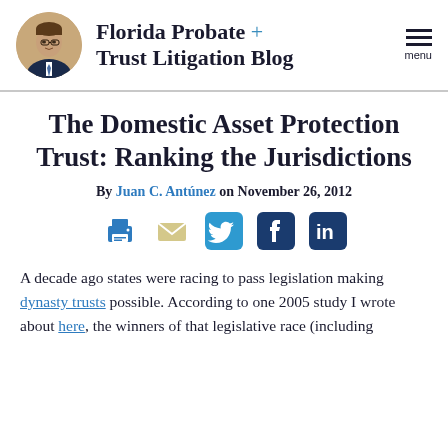Florida Probate + Trust Litigation Blog
The Domestic Asset Protection Trust: Ranking the Jurisdictions
By Juan C. Antúnez on November 26, 2012
[Figure (infographic): Social sharing icons: print, email, Twitter, Facebook, LinkedIn]
A decade ago states were racing to pass legislation making dynasty trusts possible. According to one 2005 study I wrote about here, the winners of that legislative race (including